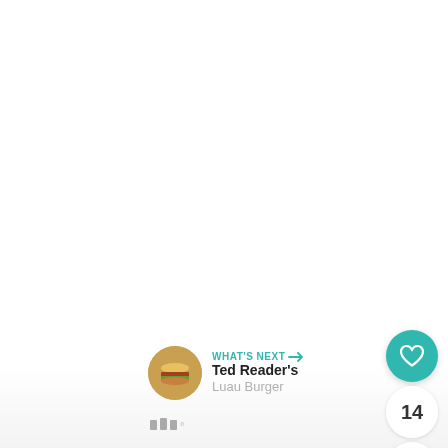[Figure (screenshot): App UI screenshot showing a mostly white/blank main content area with social interaction buttons on the right side (heart/like button in teal, count of 14, share button), and a 'What's Next' banner at the bottom right showing Ted Reader's Luau Burger thumbnail and title, with a watermark logo at the bottom.]